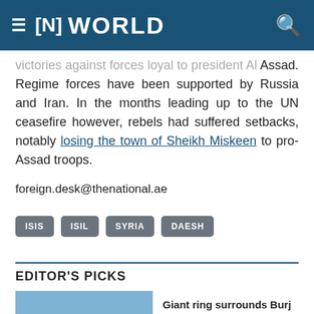≡ [N] WORLD
victories against forces loyal to president Al Assad. Regime forces have been supported by Russia and Iran. In the months leading up to the UN ceasefire however, rebels had suffered setbacks, notably losing the town of Sheikh Miskeen to pro-Assad troops.
foreign.desk@thenational.ae
ISIS
ISIL
SYRIA
DAESH
EDITOR'S PICKS
Giant ring surrounds Burj